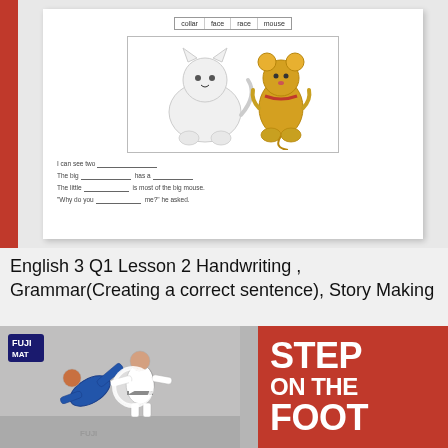[Figure (screenshot): Screenshot of an English worksheet showing word choices (collar, face, race, mouse), an illustration of a cartoon cat and mouse, and fill-in-the-blank sentences.]
English 3 Q1 Lesson 2 Handwriting , Grammar(Creating a correct sentence), Story Making
[Figure (screenshot): Video thumbnail showing two judo practitioners with one throwing the other; a play button overlay; FUJI MAT logo; red panel on right with bold white text reading STEP ON THE FOOT.]